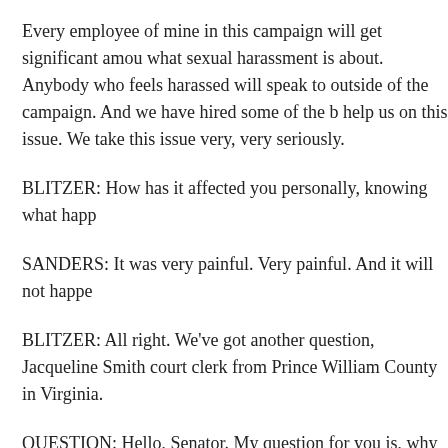Every employee of mine in this campaign will get significant amou what sexual harassment is about. Anybody who feels harassed will speak to outside of the campaign. And we have hired some of the b help us on this issue. We take this issue very, very seriously.
BLITZER: How has it affected you personally, knowing what happ
SANDERS: It was very painful. Very painful. And it will not happe
BLITZER: All right. We've got another question, Jacqueline Smith court clerk from Prince William County in Virginia.
QUESTION: Hello, Senator. My question for you is, why have you Democratic nomination for president, despite the fact that you have independent or other party for the last 50 years? And do you believe the Democratic nomination process in light of your electoral history